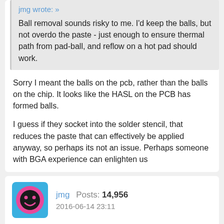jmg wrote: »
Ball removal sounds risky to me. I'd keep the balls, but not overdo the paste - just enough to ensure thermal path from pad-ball, and reflow on a hot pad should work.
Sorry I meant the balls on the pcb, rather than the balls on the chip. It looks like the HASL on the PCB has formed balls.
I guess if they socket into the solder stencil, that reduces the paste that can effectively be applied anyway, so perhaps its not an issue. Perhaps someone with BGA experience can enlighten us
jmg  Posts: 14,956
2016-06-14 23:11
garrvi wrote: »